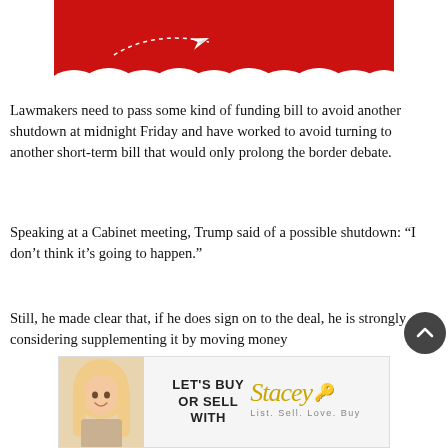[Figure (illustration): Partial illustration showing red backdrop with white cloud-like shapes at bottom and a small white paper airplane with dotted trail path on left side.]
Lawmakers need to pass some kind of funding bill to avoid another shutdown at midnight Friday and have worked to avoid turning to another short-term bill that would only prolong the border debate.
Speaking at a Cabinet meeting, Trump said of a possible shutdown: “I don’t think it’s going to happen.”
Still, he made clear that, if he does sign on to the deal, he is strongly considering supplementing it by moving money
[Figure (illustration): Advertisement banner: woman with blonde hair on left, bold text reading LET'S BUY OR SELL WITH in black, script logo reading Stacey in gold with a key icon, tagline List. Sell. Love. Buy in small caps.]